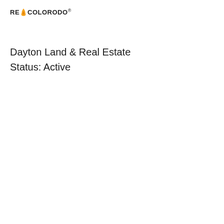RE COLORADO®
Dayton Land & Real Estate
Status: Active